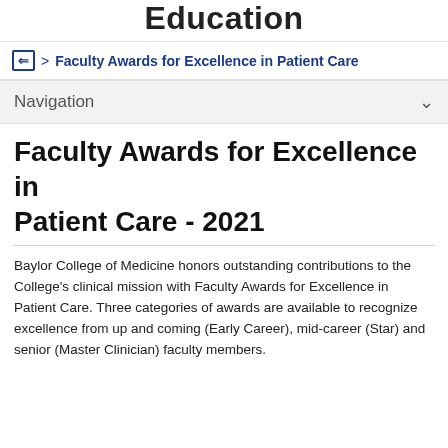Education
Faculty Awards for Excellence in Patient Care
Navigation
Faculty Awards for Excellence in Patient Care - 2021
Baylor College of Medicine honors outstanding contributions to the College's clinical mission with Faculty Awards for Excellence in Patient Care. Three categories of awards are available to recognize excellence from up and coming (Early Career), mid-career (Star) and senior (Master Clinician) faculty members.